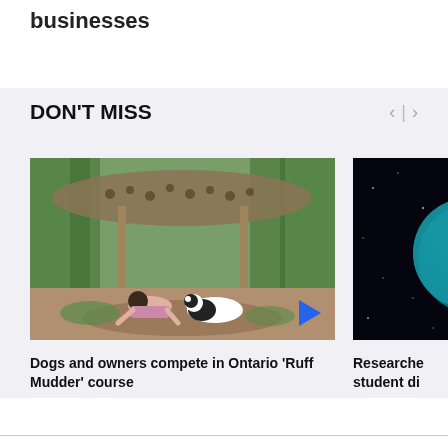businesses
DON'T MISS
[Figure (photo): A child and a dog crawling under a low wooden obstacle structure in a forest setting. A blue play button triangle is visible in the bottom right corner of the image.]
Dogs and owners compete in Ontario 'Ruff Mudder' course
[Figure (photo): A partially visible image showing a dark background with a blue circular planet or sphere, likely related to a space or astronomy topic.]
Researche student di